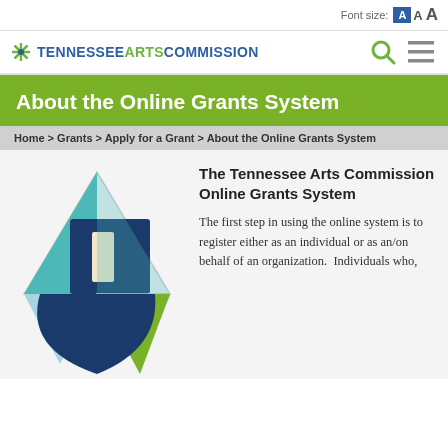Font size: A A A
[Figure (logo): Tennessee Arts Commission logo with star/asterisk icon and text TENNESSEEARTS COMMISSION]
About the Online Grants System
Home > Grants > Apply for a Grant > About the Online Grants System
[Figure (illustration): Tennessee Arts Commission decorative graphic with geometric triangles in teal, navy, light blue, green, and cream colors forming an abstract design]
The Tennessee Arts Commission Online Grants System
The first step in using the online system is to register either as an individual or as an/on behalf of an organization.  Individuals who,